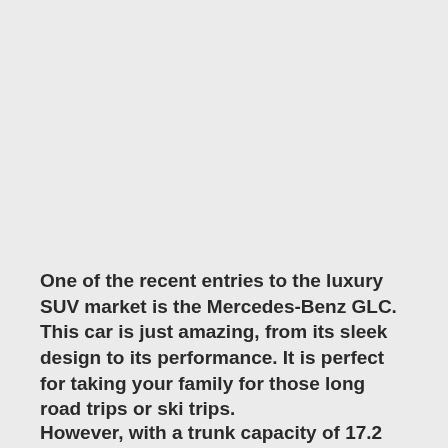One of the recent entries to the luxury SUV market is the Mercedes-Benz GLC. This car is just amazing, from its sleek design to its performance. It is perfect for taking your family for those long road trips or ski trips.
However, with a trunk capacity of 17.2 cu